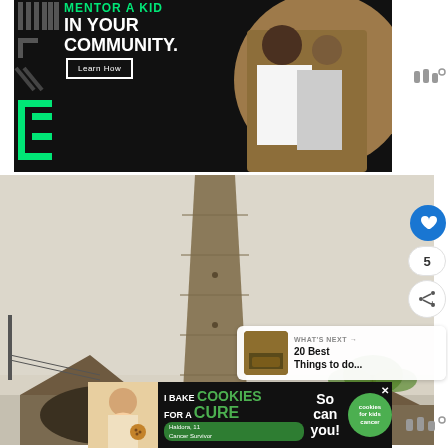[Figure (photo): Advertisement banner: black background with green geometric logo, text 'IN YOUR COMMUNITY.' and 'Learn How' button, photo of adult and child working on robotics]
[Figure (photo): Tall stone obelisk/chimney tower against a hazy sky, with rooftops and a palm tree visible at the bottom]
[Figure (photo): Bottom advertisement: 'I Bake COOKIES For A CURE' with a girl named Haldora, 11, Cancer Survivor, and 'So can you!' text with cookies for kids cancer badge]